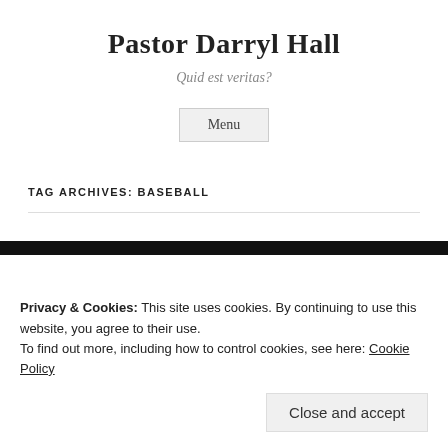Pastor Darryl Hall
Quid est veritas?
Menu
TAG ARCHIVES: BASEBALL
Privacy & Cookies: This site uses cookies. By continuing to use this website, you agree to their use.
To find out more, including how to control cookies, see here: Cookie Policy
Close and accept